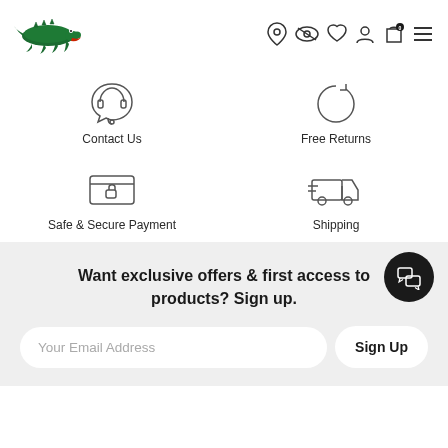[Figure (logo): Lacoste crocodile logo in green]
[Figure (infographic): Navigation icons: location pin, eye/search, heart, profile, shopping bag with badge 0, hamburger menu]
[Figure (infographic): Four service icons in 2x2 grid: headset (Contact Us), refresh arrows (Free Returns), secure payment card (Safe & Secure Payment), delivery truck (Shipping)]
Want exclusive offers & first access to products? Sign up.
Your Email Address
Sign Up